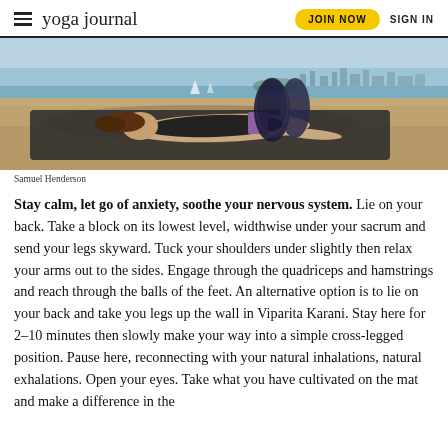yoga journal | JOIN NOW | SIGN IN
[Figure (photo): Woman lying on her back on a sandy beach with legs raised vertically, supported by a purple yoga block under her sacrum, wearing black athletic wear, with water and city skyline in background]
Samuel Henderson
Stay calm, let go of anxiety, soothe your nervous system. Lie on your back. Take a block on its lowest level, widthwise under your sacrum and send your legs skyward. Tuck your shoulders under slightly then relax your arms out to the sides. Engage through the quadriceps and hamstrings and reach through the balls of the feet. An alternative option is to lie on your back and take you legs up the wall in Viparita Karani. Stay here for 2–10 minutes then slowly make your way into a simple cross-legged position. Pause here, reconnecting with your natural inhalations, natural exhalations. Open your eyes. Take what you have cultivated on the mat and make a difference in the